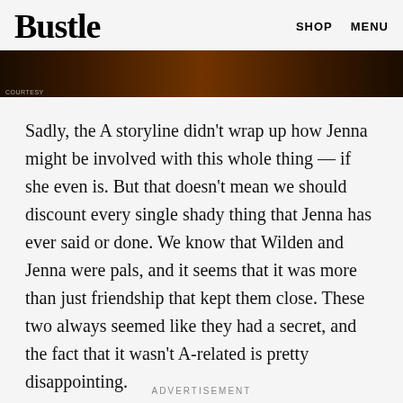Bustle   SHOP   MENU
[Figure (photo): Dark-toned photo strip showing partial faces/figures against a dark background]
Sadly, the A storyline didn't wrap up how Jenna might be involved with this whole thing — if she even is. But that doesn't mean we should discount every single shady thing that Jenna has ever said or done. We know that Wilden and Jenna were pals, and it seems that it was more than just friendship that kept them close. These two always seemed like they had a secret, and the fact that it wasn't A-related is pretty disappointing.
ADVERTISEMENT